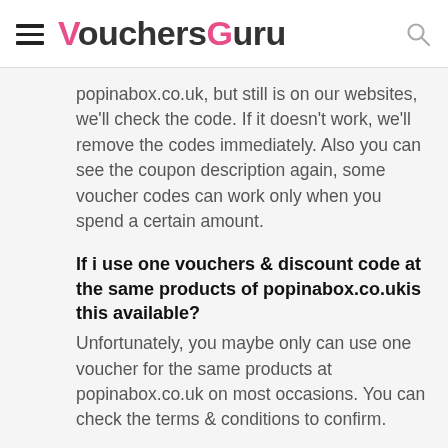VouchersGuru
popinabox.co.uk, but still is on our websites, we'll check the code. If it doesn't work, we'll remove the codes immediately. Also you can see the coupon description again, some voucher codes can work only when you spend a certain amount.
If i use one vouchers & discount code at the same products of popinabox.co.uk​is this available?
Unfortunately, you maybe only can use one voucher for the same products at popinabox.co.uk on most occasions. You can check the terms & conditions to confirm.